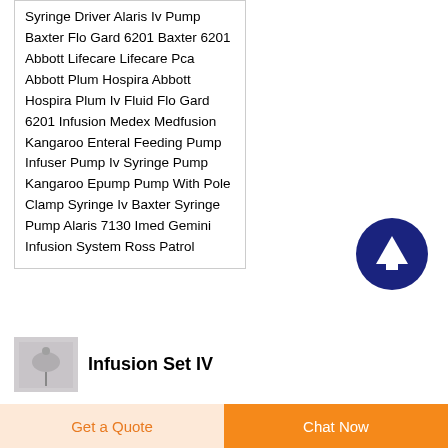Syringe Driver Alaris Iv Pump Baxter Flo Gard 6201 Baxter 6201 Abbott Lifecare Lifecare Pca Abbott Plum Hospira Abbott Hospira Plum Iv Fluid Flo Gard 6201 Infusion Medex Medfusion Kangaroo Enteral Feeding Pump Infuser Pump Iv Syringe Pump Kangaroo Epump Pump With Pole Clamp Syringe Iv Baxter Syringe Pump Alaris 7130 Imed Gemini Infusion System Ross Patrol
[Figure (illustration): Dark navy blue circular button with a white upward-pointing arrow icon]
[Figure (photo): Small thumbnail image of an IV infusion set, grayish-purple tones]
Infusion Set IV
Get a Quote
Chat Now